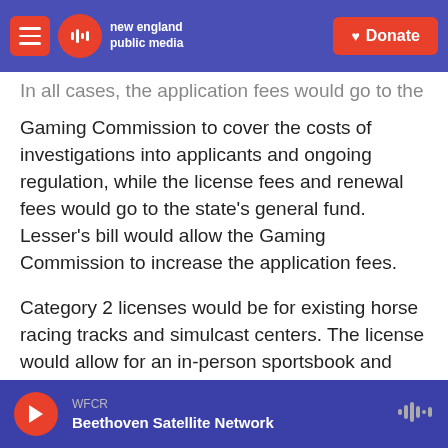new england public media | Donate
In all cases, the application fees would go to the Gaming Commission to cover the costs of investigations into applicants and ongoing regulation, while the license fees and renewal fees would go to the state's general fund. Lesser's bill would allow the Gaming Commission to increase the application fees.
Category 2 licenses would be for existing horse racing tracks and simulcast centers. The license would allow for an in-person sportsbook and partnership with one mobile app, but the facility would have to maintain a racetrack, put the
WFCR | Beethoven Satellite Network